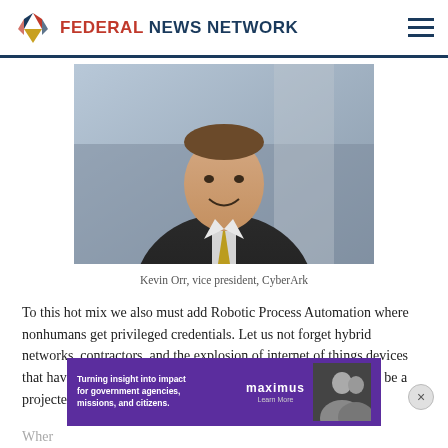FEDERAL NEWS NETWORK
[Figure (photo): Headshot of Kevin Orr, vice president, CyberArk — a man in a dark suit and tie, smiling, professional background]
Kevin Orr, vice president, CyberArk
To this hot mix we also must add Robotic Process Automation where nonhumans get privileged credentials. Let us not forget hybrid networks, contractors, and the explosion of internet of things devices that have network access. Some estimate that by 2030 there will be a projected 25.4 billion IoT devices conn
[Figure (infographic): Advertisement banner: purple background, text 'Turning insight into impact for government agencies, missions, and citizens.' with Maximus logo and photo of people]
Wher